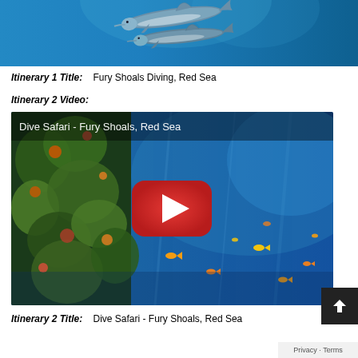[Figure (photo): Underwater photo of two dolphins swimming in blue ocean water]
Itinerary 1 Title:    Fury Shoals Diving, Red Sea
Itinerary 2 Video:
[Figure (screenshot): YouTube video thumbnail showing coral reef with colorful fish and a red play button overlay, titled 'Dive Safari - Fury Shoals, Red Sea']
Itinerary 2 Title:    Dive Safari - Fury Shoals, Red Sea